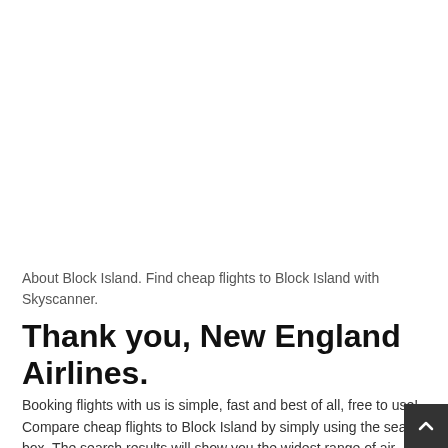About Block Island. Find cheap flights to Block Island with Skyscanner.
Thank you, New England Airlines.
Booking flights with us is simple, fast and best of all, free to use! Compare cheap flights to Block Island by simply using the search box. The search results will show you the widest range of air